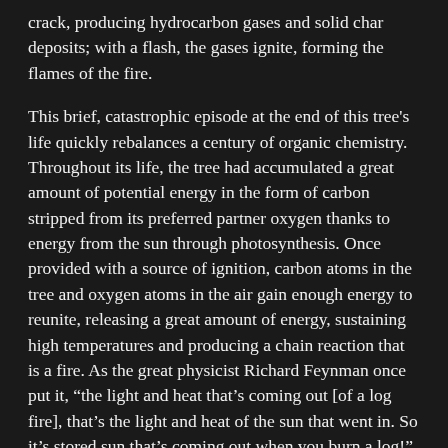crack, producing hydrocarbon gases and solid char deposits; with a flash, the gases ignite, forming the flames of the fire.
This brief, catastrophic episode at the end of this tree's life quickly rebalances a century of organic chemistry. Throughout its life, the tree had accumulated a great amount of potential energy in the form of carbon stripped from its preferred partner oxygen thanks to energy from the sun through photosynthesis. Once provided with a source of ignition, carbon atoms in the tree and oxygen atoms in the air gain enough energy to reunite, releasing a great amount of energy, sustaining high temperatures and producing a chain reaction that is a fire. As the great physicist Richard Feynman once put it, “the light and heat that’s coming out [of a log fire], that’s the light and heat of the sun that went in. So it’s stored sun that’s coming out when you burn a log!”